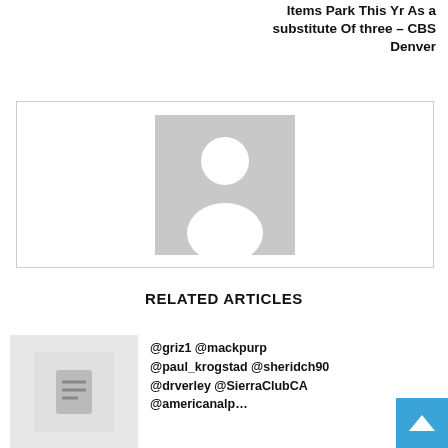Items Park This Yr As a substitute Of three – CBS Denver
[Figure (photo): Placeholder profile image with generic person silhouette on gray background, inside a bordered box]
RELATED ARTICLES
[Figure (screenshot): Thumbnail image for related article, gray placeholder with document icon]
@griz1 @mackpurp @paul_krogstad @sheridch90 @drverley @SierraClubCA @americanalp…